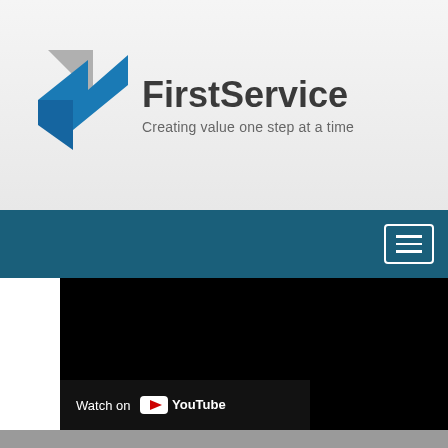[Figure (logo): FirstService corporate logo with blue and gray arrow chevron graphic, company name 'FirstService' in bold dark text, and tagline 'Creating value one step at a time' in gray]
[Figure (screenshot): Dark blue navigation bar with hamburger menu icon (three horizontal lines) in white inside a white-bordered rectangle on the right side]
[Figure (screenshot): Embedded YouTube video player showing a black screen with 'Watch on YouTube' button at the bottom left]